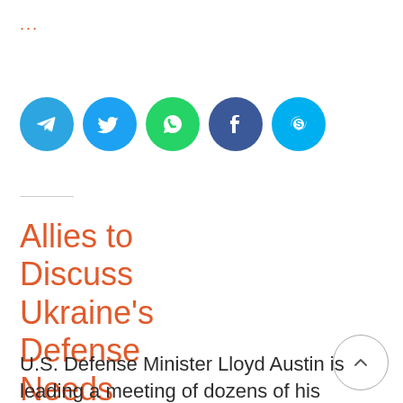...
[Figure (other): Row of five social media share buttons: Telegram (blue circle), Twitter (light blue circle), WhatsApp (green circle), Facebook (dark blue circle), Skype (light blue circle)]
Allies to Discuss Ukraine's Defense Needs
U.S. Defense Minister Lloyd Austin is leading a meeting of dozens of his counterparts from